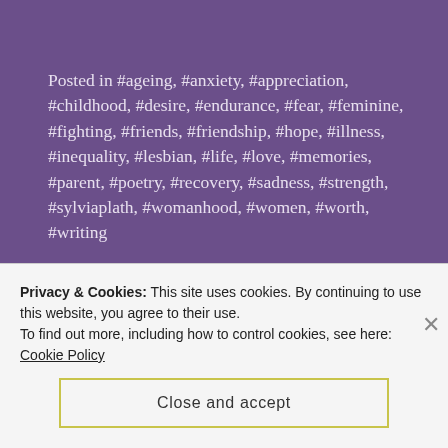Posted in #ageing, #anxiety, #appreciation, #childhood, #desire, #endurance, #fear, #feminine, #fighting, #friends, #friendship, #hope, #illness, #inequality, #lesbian, #life, #love, #memories, #parent, #poetry, #recovery, #sadness, #strength, #sylviaplath, #womanhood, #women, #worth, #writing
Tagged #ageing, #betrayal, #bonds, #change, #effort, #friendship, #gettingolder, #girls, #grief, #hurt, #innocence, #journey, #poem, #poetry, #prosetry, #rejection, #takingforgranted, #thenandnow, #thoughts, #transformation, #truth, #university, #women, #writersofWP, #writing, #youth, disenchantment
Privacy & Cookies: This site uses cookies. By continuing to use this website, you agree to their use. To find out more, including how to control cookies, see here: Cookie Policy
Close and accept